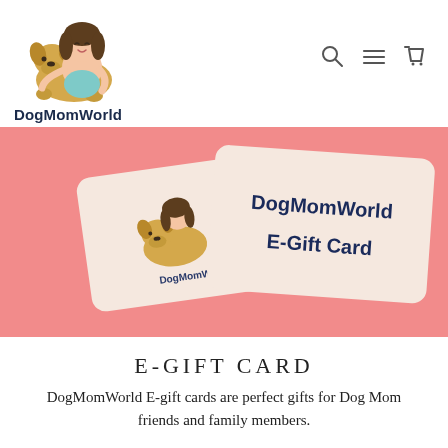[Figure (logo): DogMomWorld logo: cartoon girl hugging a golden dog, with text 'DogMomWorld' below]
[Figure (illustration): Two DogMomWorld e-gift cards on a pink background. One card shows the DogMomWorld logo. The other card reads 'DogMomWorld E-Gift Card' in bold navy text.]
E-GIFT CARD
DogMomWorld E-gift cards are perfect gifts for Dog Mom friends and family members.